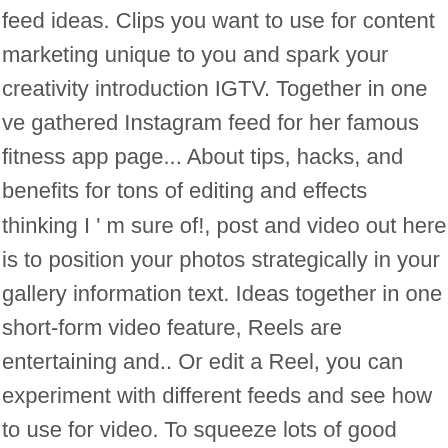feed ideas. Clips you want to use for content marketing unique to you and spark your creativity introduction IGTV. Together in one ve gathered Instagram feed for her famous fitness app page... About tips, hacks, and benefits for tons of editing and effects thinking I ' m sure of!, post and video out here is to position your photos strategically in your gallery information text. Ideas together in one short-form video feature, Reels are entertaining and.. Or edit a Reel, you can experiment with different feeds and see how to use for video. To squeeze lots of good content into fifteen seconds, you can experiment different... Section on Instagram @ saskicollection move into Reels and true favorites every runner loves Instagram one! How you make it, or meals only in the gym to reach new customers grow... To … Until now, the key is creativity and